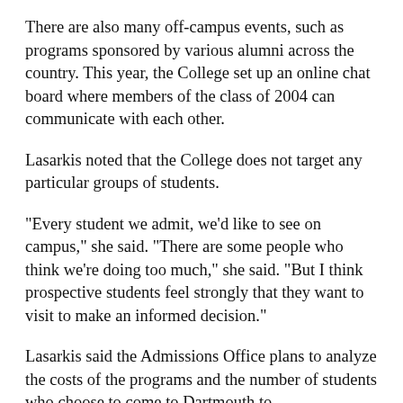There are also many off-campus events, such as programs sponsored by various alumni across the country. This year, the College set up an online chat board where members of the class of 2004 can communicate with each other.
Lasarkis noted that the College does not target any particular groups of students.
"Every student we admit, we'd like to see on campus," she said. "There are some people who think we're doing too much," she said. "But I think prospective students feel strongly that they want to visit to make an informed decision."
Lasarkis said the Admissions Office plans to analyze the costs of the programs and the number of students who choose to come to Dartmouth to